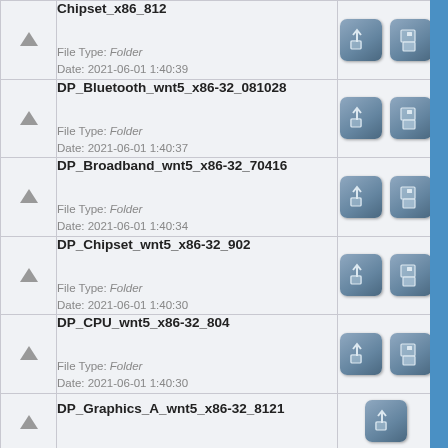|  | Name / Info | Actions |
| --- | --- | --- |
| [folder] | Chipset_x86_812
File Type: Folder
Date: 2021-06-01 1:40:39 | [share][save] |
| [folder] | DP_Bluetooth_wnt5_x86-32_081028
File Type: Folder
Date: 2021-06-01 1:40:37 | [share][save] |
| [folder] | DP_Broadband_wnt5_x86-32_70416
File Type: Folder
Date: 2021-06-01 1:40:34 | [share][save] |
| [folder] | DP_Chipset_wnt5_x86-32_902
File Type: Folder
Date: 2021-06-01 1:40:30 | [share][save] |
| [folder] | DP_CPU_wnt5_x86-32_804
File Type: Folder
Date: 2021-06-01 1:40:30 | [share][save] |
| [folder] | DP_Graphics_A_wnt5_x86-32_8121
File Type: Folder
Date: ... | [share][save] |